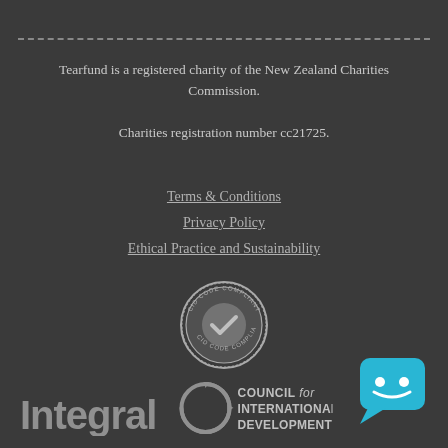Tearfund is a registered charity of the New Zealand Charities Commission.
Charities registration number cc21725.
Terms & Conditions
Privacy Policy
Ethical Practice and Sustainability
[Figure (logo): CID Code Compliant circular stamp badge with checkmark]
[Figure (logo): Integral: logo text in bold gray]
[Figure (logo): Council for International Development logo with circular arrows]
[Figure (logo): Blue chat bubble icon with smiley face]